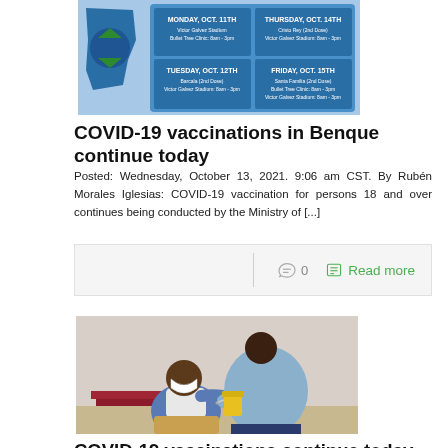[Figure (infographic): COVID-19 vaccination schedule banner for Belize showing dates Monday Oct. 11th through Friday Oct. 15th with locations including Victor Galvez Stadium and Bullet Tree Clinic]
COVID-19 vaccinations in Benque continue today
Posted: Wednesday, October 13, 2021. 9:06 am CST. By Rubén Morales Iglesias: COVID-19 vaccination for persons 18 and over continues being conducted by the Ministry of [...]
0   Read more
[Figure (photo): Photo of a person wearing a face mask seated and receiving a COVID-19 vaccination injection from a healthcare worker in a light blue shirt, with a yellow medical container visible]
COVID-19 vaccinations continue today Wednesday in